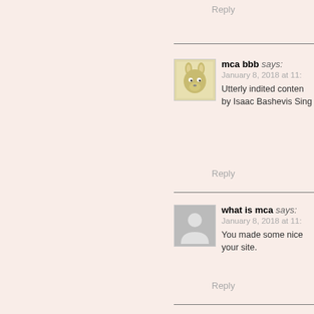Reply
mca bbb says:
January 8, 2018 at 11:
Utterly indited conten
by Isaac Bashevis Sing
Reply
what is mca says:
January 8, 2018 at 11:
You made some nice
your site.
Reply